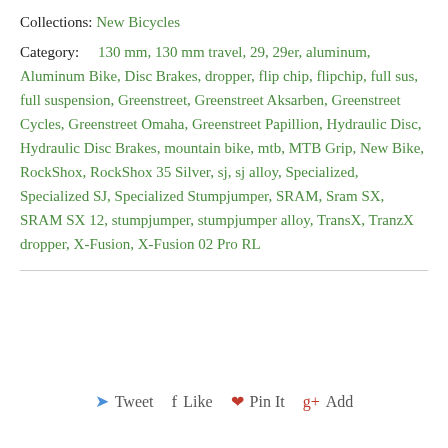Collections: New Bicycles
Category: 130 mm, 130 mm travel, 29, 29er, aluminum, Aluminum Bike, Disc Brakes, dropper, flip chip, flipchip, full sus, full suspension, Greenstreet, Greenstreet Aksarben, Greenstreet Cycles, Greenstreet Omaha, Greenstreet Papillion, Hydraulic Disc, Hydraulic Disc Brakes, mountain bike, mtb, MTB Grip, New Bike, RockShox, RockShox 35 Silver, sj, sj alloy, Specialized, Specialized SJ, Specialized Stumpjumper, SRAM, Sram SX, SRAM SX 12, stumpjumper, stumpjumper alloy, TransX, TranzX dropper, X-Fusion, X-Fusion 02 Pro RL
Tweet  Like  Pin It  Add